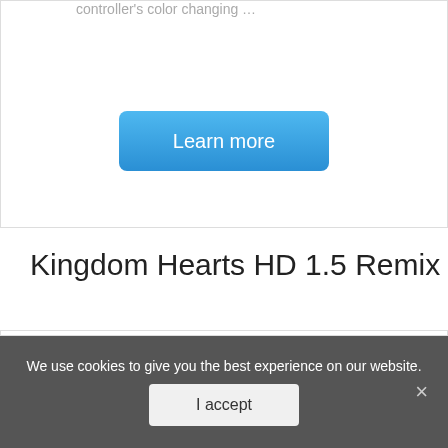controller's color changing …
Learn more
Kingdom Hearts HD 1.5 Remix
[Figure (photo): Kingdom Hearts HD 1.5 Remix PS3 Greatest Hits game box cover art showing anime-style characters on a black and white checkered background]
We use cookies to give you the best experience on our website.
I accept